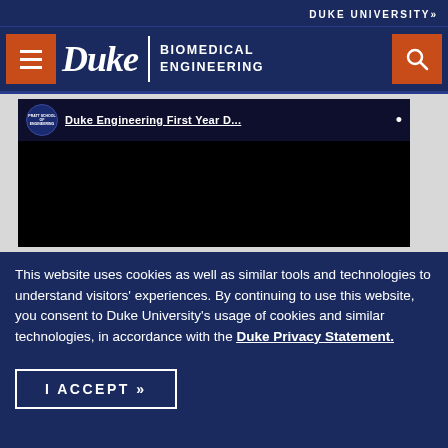DUKE UNIVERSITY»
[Figure (logo): Duke Biomedical Engineering navigation header with hamburger menu, Duke wordmark, BIOMEDICAL ENGINEERING text, and search button on dark navy background]
[Figure (screenshot): Paused video thumbnail showing 'Duke Engineering First Year D...' title bar with Pratt School of Engineering logo on black background]
This website uses cookies as well as similar tools and technologies to understand visitors' experiences. By continuing to use this website, you consent to Duke University's usage of cookies and similar technologies, in accordance with the Duke Privacy Statement.
I ACCEPT »